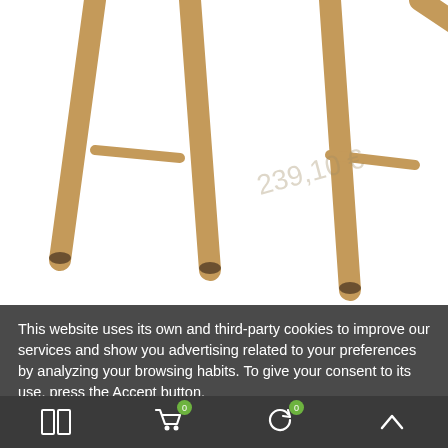[Figure (photo): Product photo showing wooden chair legs on white background]
This website uses its own and third-party cookies to improve our services and show you advertising related to your preferences by analyzing your browsing habits. To give your consent to its use, press the Accept button.
More information   Customize cookies
REJECT ALL
I ACCEPT
[Figure (screenshot): Bottom navigation bar with grid, cart (0), refresh (0), and up arrow icons]